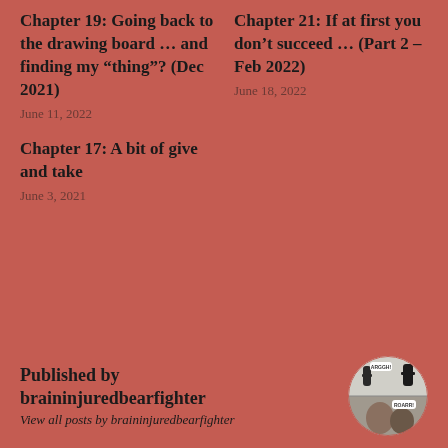Chapter 19: Going back to the drawing board … and finding my “thing”? (Dec 2021)
June 11, 2022
Chapter 21: If at first you don’t succeed … (Part 2 – Feb 2022)
June 18, 2022
Chapter 17: A bit of give and take
June 3, 2021
Published by braininjuredbearfighter
View all posts by braininjuredbearfighter
[Figure (illustration): Circular avatar image showing a comic-book style illustration of two characters fighting, with speech bubbles saying ARGGH and ROARR]